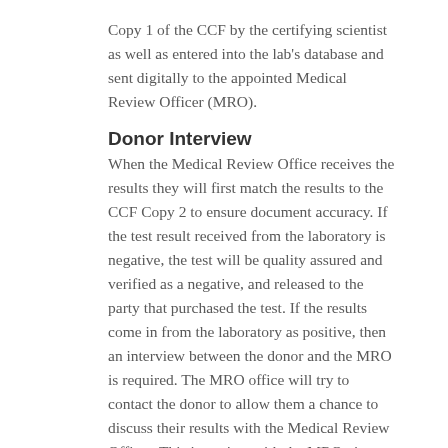Copy 1 of the CCF by the certifying scientist as well as entered into the lab's database and sent digitally to the appointed Medical Review Officer (MRO).
Donor Interview
When the Medical Review Office receives the results they will first match the results to the CCF Copy 2 to ensure document accuracy. If the test result received from the laboratory is negative, the test will be quality assured and verified as a negative, and released to the party that purchased the test. If the results come in from the laboratory as positive, then an interview between the donor and the MRO is required. The MRO office will try to contact the donor to allow them a chance to discuss their results with the Medical Review Officer. This interview with the MRO gives the donor an opportunity to explain any medical-related reasons for the positive result, such as being on medication.